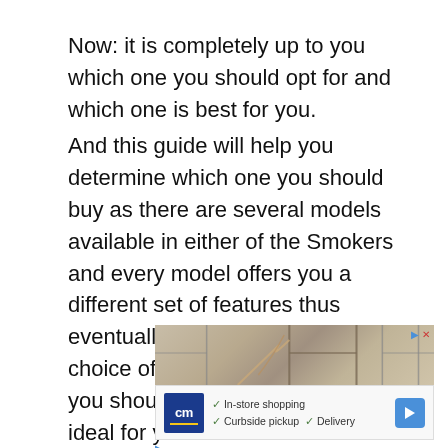Now: it is completely up to you which one you should opt for and which one is best for you.
And this guide will help you determine which one you should buy as there are several models available in either of the Smokers and every model offers you a different set of features thus eventually all comes down to your choice of preference which one you should go for and which one is ideal for you.
[Figure (photo): Advertisement image showing windows with a cross/grid pattern and decorative branches, with a CM store logo banner below showing checkmarks for In-store shopping, Curbside pickup, and Delivery options, along with a blue navigation arrow icon.]